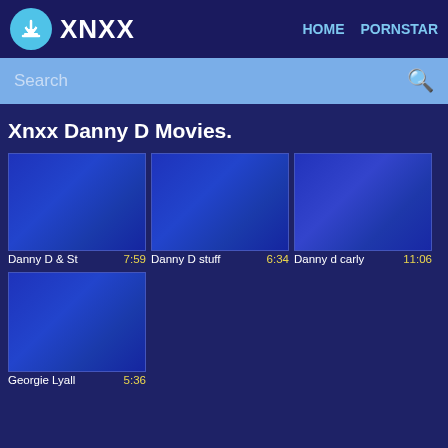XNXX  HOME  PORNSTAR
Search
Xnxx Danny D Movies.
[Figure (screenshot): Video thumbnail 1 - blue gradient placeholder]
Danny D & St  7:59
[Figure (screenshot): Video thumbnail 2 - blue gradient placeholder]
Danny D stuff  6:34
[Figure (screenshot): Video thumbnail 3 - blue gradient placeholder]
Danny d carly  11:06
[Figure (screenshot): Video thumbnail 4 - blue gradient placeholder]
Georgie Lyall  5:36